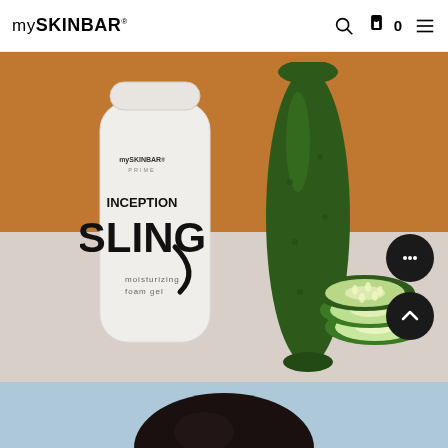mySKINBAR
[Figure (photo): Product photo of mySKINBAR PRIME Inception Sling moisturizing foam gel white bottle next to a whole cucumber and sliced cucumber pieces on an orange and light grey background]
[Figure (photo): Partial view of a person with dark hair against a light blue background at the bottom of the page]